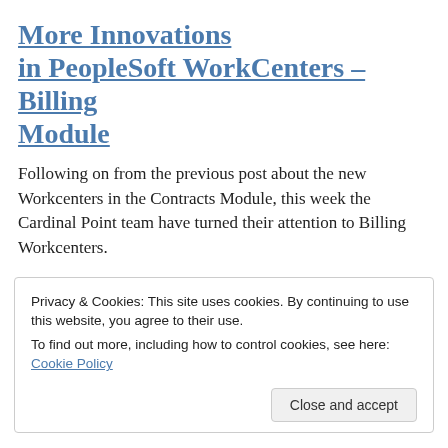More Innovations in PeopleSoft WorkCenters – Billing Module
Following on from the previous post about the new Workcenters in the Contracts Module, this week the Cardinal Point team have turned their attention to Billing Workcenters.
Privacy & Cookies: This site uses cookies. By continuing to use this website, you agree to their use.
To find out more, including how to control cookies, see here: Cookie Policy
Close and accept
Configuration